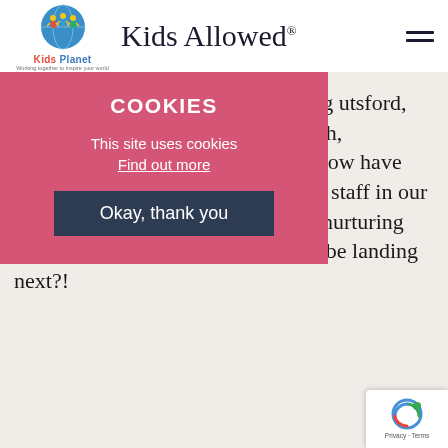[Figure (logo): Kids Planet logo with colorful children figures and text 'Kids Planet' with tagline 'Working together to inspire your world']
Kids Allowed®
[Figure (infographic): Cookie consent overlay with title 'COOKIES', text 'This site uses cookies', link 'Find out more', and button 'Okay, thank you']
to acquire This took across ncluding utsford, Macclesfield, Stockport, MFT South, Altrincham and Trafford City. We now have over 50 nurseries and close to 2000 staff in our group committed to caring for and nurturing over 7500 children. Where will we be landing next?!